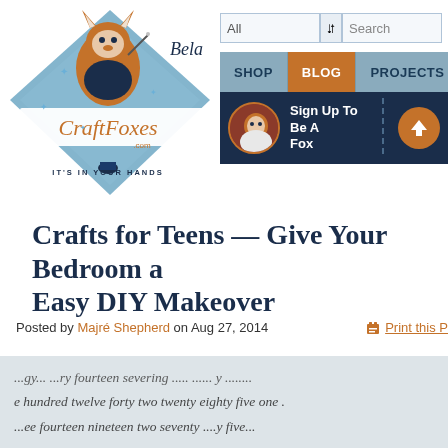[Figure (logo): CraftFoxes.com logo with illustrated fox character sewing, tagline 'IT'S IN YOUR HANDS', script text 'Bela']
[Figure (screenshot): Website navigation header with search bar (All dropdown + Search input), nav menu (SHOP, BLOG active, PROJECTS), and dark blue signup bar with avatar and 'Sign Up To Be A Fox' text]
Crafts for Teens — Give Your Bedroom a Easy DIY Makeover
Posted by Majré Shepherd on Aug 27, 2014
Print this P
[Figure (photo): Close-up photo of handwritten cursive text on paper, showing partial words including 'hundred twelve forty two twenty eighty five one', 'fourteen nineteen two seventy', light blue/grey background]